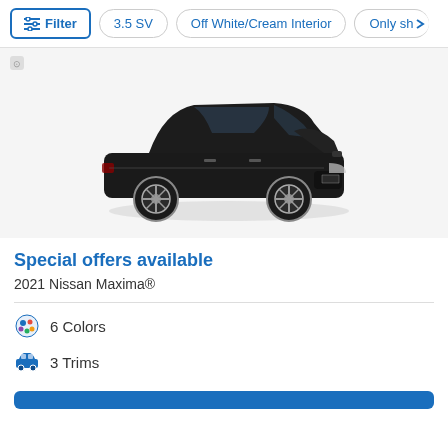Filter | 3.5 SV | Off White/Cream Interior | Only sh>
[Figure (photo): 2021 Nissan Maxima black sedan, front three-quarter view on white/gray background]
Special offers available
2021 Nissan Maxima®
6 Colors
3 Trims